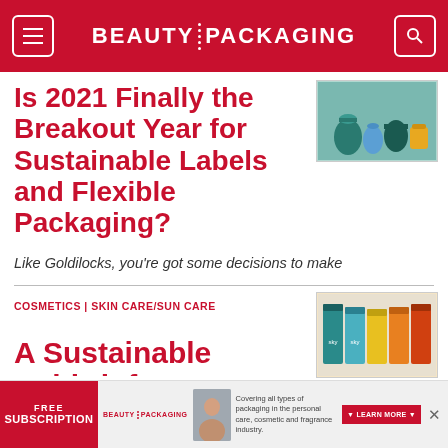BEAUTY PACKAGING
[Figure (photo): Thumbnail image of sustainable packaging products including bottles and containers on a blue-green background]
Is 2021 Finally the Breakout Year for Sustainable Labels and Flexible Packaging?
Like Goldilocks, you're got some decisions to make
COSMETICS | SKIN CARE/SUN CARE
[Figure (photo): Thumbnail image of colorful carton packaging in teal, yellow, and orange colors]
A Sustainable Rebirth for
[Figure (screenshot): Advertisement banner for Beauty Packaging free subscription offer]